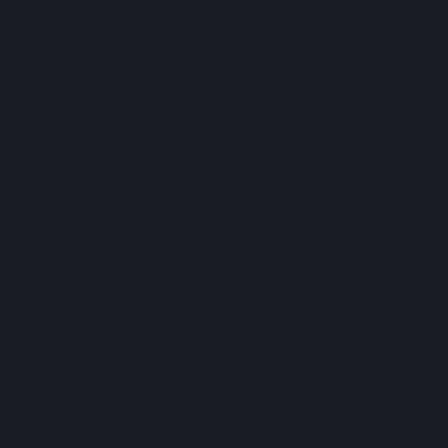Majority Whip Kevin McCarthy (R outlet</b></a> <a href=http://ww href=http://www.phoenixbonsai.c href=http://www.triplekirrigation.c </a> <a href=http://www.phoenix href=http://www.triplekirrigation.c href=http://www.triplekirrigation.c orlando</b></a> <a href=http://w <b>uggs outlet sale</b></a> <a  </a> <a href=http://www.triplekir orlando</b></a> <a href=http://w <b>cheap uggs outlet</b></a> < outlet.html><b>ugg boots outlet< page=uggs-outlet.html><b>uggs page=ugg-outlet-store-online.htm href=http://www.phoenixbonsai.c href=http://www.triplekirrigation.c </a> <a href=http://www.ecocorp outlet</b></a> <a href=http://ww expected to see fear, panic, cont <a href=http://www.triplekirrigatio href=http://www.ecocorp.com><b href=http://www.triplekirrigation.c href=http://www.phoenixbonsai.c </a> <a href=http://www.ecocorp href=http://www.phoenixbonsai.c SMEs, also need easier access t href=http://www.ecocorp.com><b href=http://www.triplekirrigation.c href=http://www.ecocorp.com><b href=http://www.phoenixbonsai.c href=http://www.ecocorp.com><b href=http://www.triplekirrigation.c
wftjqydb95